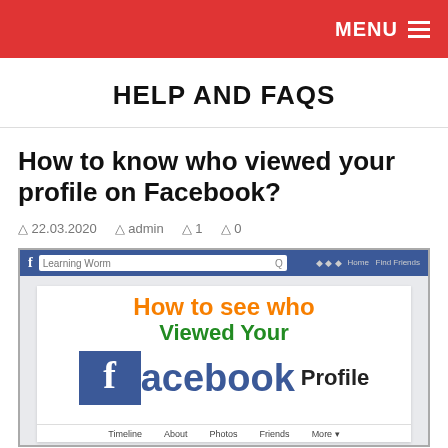MENU
HELP AND FAQS
How to know who viewed your profile on Facebook?
22.03.2020  admin  1  0
[Figure (screenshot): Screenshot of a Facebook page showing the text 'How to see who Viewed Your Facebook Profile' with the Facebook logo and a navigation bar with Timeline, About, Photos, Friends, More.]